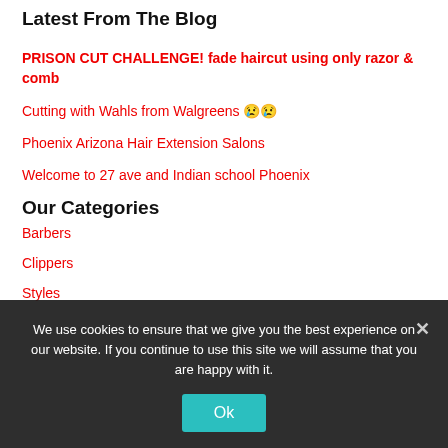Latest From The Blog
PRISON CUT CHALLENGE! fade haircut using only razor & comb
Cutting with Wahls from Walgreens 😢😢
Phoenix Arizona Hair Extension Salons
Welcome to 27 ave and Indian school Phoenix
Our Categories
Barbers
Clippers
Styles
We use cookies to ensure that we give you the best experience on our website. If you continue to use this site we will assume that you are happy with it.